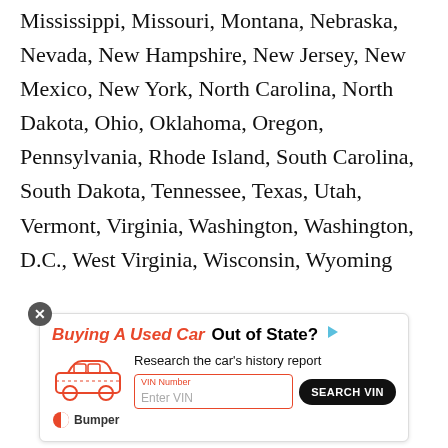Mississippi, Missouri, Montana, Nebraska, Nevada, New Hampshire, New Jersey, New Mexico, New York, North Carolina, North Dakota, Ohio, Oklahoma, Oregon, Pennsylvania, Rhode Island, South Carolina, South Dakota, Tennessee, Texas, Utah, Vermont, Virginia, Washington, Washington, D.C., West Virginia, Wisconsin, Wyoming
[Figure (other): Advertisement banner for Bumper: 'Buying A Used Car Out of State?' with car icon, VIN Number input field, and SEARCH VIN button]